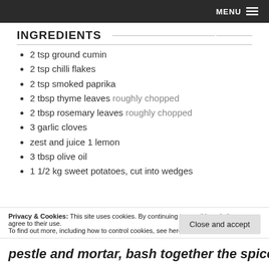MENU
INGREDIENTS
2 tsp ground cumin
2 tsp chilli flakes
2 tsp smoked paprika
2 tbsp thyme leaves roughly chopped
2 tbsp rosemary leaves roughly chopped
3 garlic cloves
zest and juice 1 lemon
3 tbsp olive oil
1 1/2 kg sweet potatoes, cut into wedges
Privacy & Cookies: This site uses cookies. By continuing to use this website, you agree to their use. To find out more, including how to control cookies, see here: Cookie Policy
Close and accept
pestle and mortar, bash together the spices,